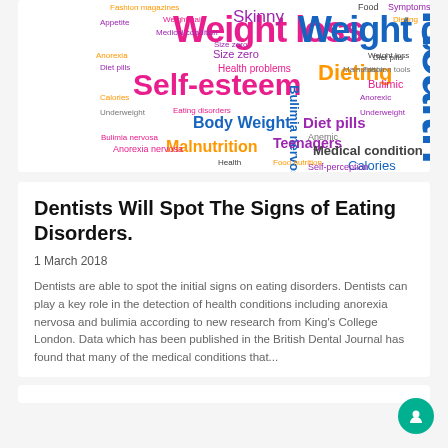[Figure (infographic): Word cloud related to eating disorders and health topics. Large words include 'Weight loss', 'Weight gain', 'Self-esteem', 'Health', 'Dieting', 'Body Weight', 'Malnutrition', 'Teenagers', 'Bulimia nervosa', 'Medical condition', 'Calories', 'Diet pills', 'Skinny', 'Size zero', etc. Words in various colors: pink, magenta, orange, blue, purple, yellow, dark blue.]
Dentists Will Spot The Signs of Eating Disorders.
1 March 2018
Dentists are able to spot the initial signs on eating disorders. Dentists can play a key role in the detection of health conditions including anorexia nervosa and bulimia according to new research from King's College London. Data which has been published in the British Dental Journal has found that many of the medical conditions that...